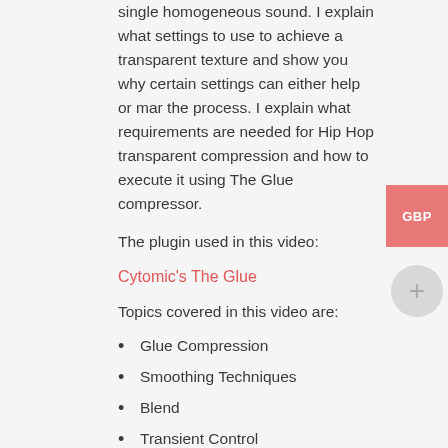single homogeneous sound. I explain what settings to use to achieve a transparent texture and show you why certain settings can either help or mar the process. I explain what requirements are needed for Hip Hop transparent compression and how to execute it using The Glue compressor.
The plugin used in this video:
Cytomic's The Glue
Topics covered in this video are:
Glue Compression
Smoothing Techniques
Blend
Transient Control
Timing and Release
Tempo Sync
Dynamic Control
If this tutorial was of help maybe these will also be of